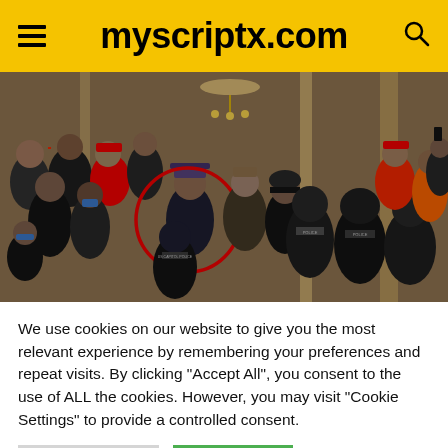myscriptx.com
[Figure (photo): Crowd scene inside the US Capitol building during the January 6 riot. A person in the center is circled with a red circle. Police officers in riot gear are visible in the foreground.]
We use cookies on our website to give you the most relevant experience by remembering your preferences and repeat visits. By clicking “Accept All”, you consent to the use of ALL the cookies. However, you may visit "Cookie Settings" to provide a controlled consent.
Cookie Settings
Accept All